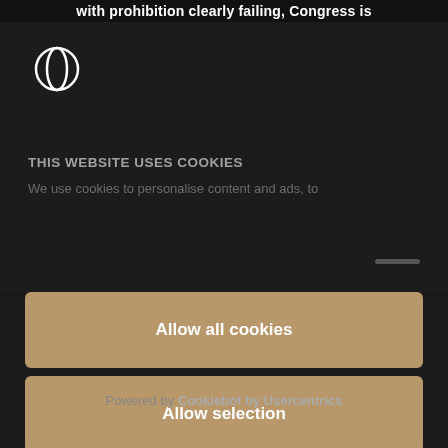with prohibition clearly failing, Congress is
[Figure (logo): Circular logo icon outline in white on dark background]
THIS WEBSITE USES COOKIES
We use cookies to personalise content and ads, to
Allow all cookies
Allow selection
Deny
Powered by Cookiebot by Usercentrics